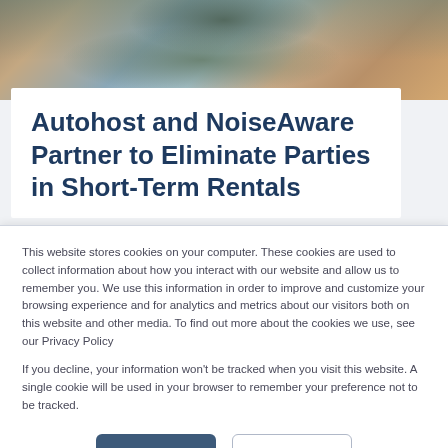[Figure (photo): Interior room photo showing a living room with leather sofa, coffee table with books and a candle, plants, and soft natural lighting through a window]
Autohost and NoiseAware Partner to Eliminate Parties in Short-Term Rentals
This website stores cookies on your computer. These cookies are used to collect information about how you interact with our website and allow us to remember you. We use this information in order to improve and customize your browsing experience and for analytics and metrics about our visitors both on this website and other media. To find out more about the cookies we use, see our Privacy Policy
If you decline, your information won't be tracked when you visit this website. A single cookie will be used in your browser to remember your preference not to be tracked.
Accept
Decline